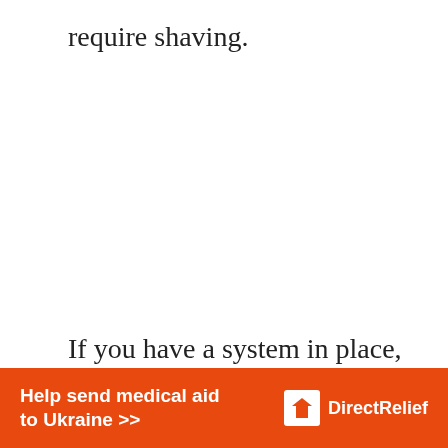require shaving.
If you have a system in place, shaving your Labradoodle is not as challenging as you
[Figure (infographic): Orange advertisement banner for Direct Relief: 'Help send medical aid to Ukraine >>' with Direct Relief logo (white box icon with letter shape) on right side, white text on orange background.]